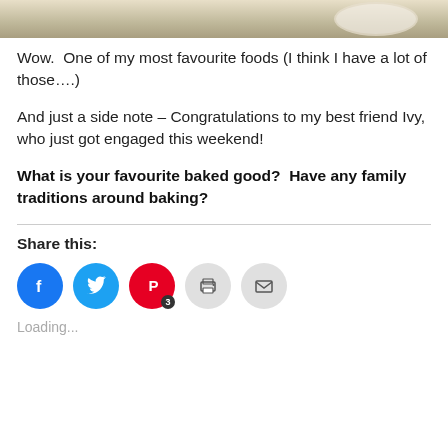[Figure (photo): Top portion of a food photo showing a baked good on a plate, cropped at the top of the page]
Wow.  One of my most favourite foods (I think I have a lot of those….)
And just a side note – Congratulations to my best friend Ivy, who just got engaged this weekend!
What is your favourite baked good?  Have any family traditions around baking?
Share this:
[Figure (infographic): Social share buttons: Facebook (blue circle), Twitter (blue circle), Pinterest (red circle with badge '3'), Print (grey circle), Email (grey circle)]
Loading...